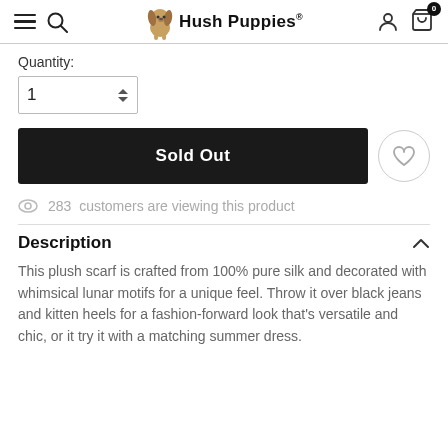Hush Puppies
Quantity:
1
Sold Out
283  customers are viewing this product
Description
This plush scarf is crafted from 100% pure silk and decorated with whimsical lunar motifs for a unique feel. Throw it over black jeans and kitten heels for a fashion-forward look that's versatile and chic, or it try it with a matching summer dress.